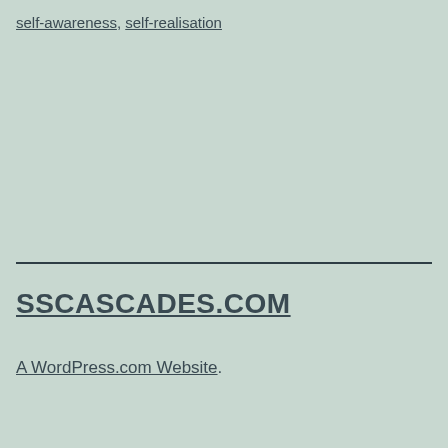self-awareness, self-realisation
SSCASCADES.COM
A WordPress.com Website.